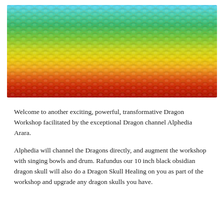[Figure (photo): Close-up photograph of colorful dragon scales arranged in horizontal bands of color — blue and teal at the top, transitioning through green, yellow-green, yellow, orange, and red at the bottom — with a repeating circular scale texture throughout.]
Welcome to another exciting, powerful, transformative Dragon Workshop facilitated by the exceptional Dragon channel Alphedia Arara.
Alphedia will channel the Dragons directly, and augment the workshop with singing bowls and drum. Rafundus our 10 inch black obsidian dragon skull will also do a Dragon Skull Healing on you as part of the workshop and upgrade any dragon skulls you have.